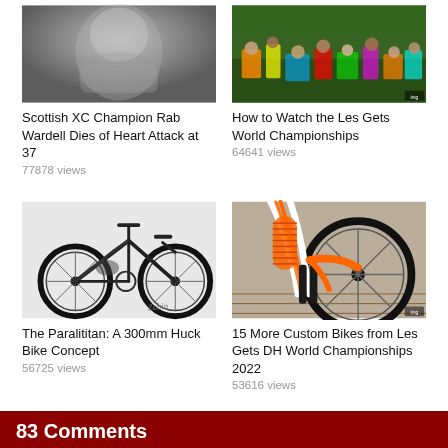[Figure (photo): Black and white close-up portrait of an older man]
Scottish XC Champion Rab Wardell Dies of Heart Attack at 37
77878 views
[Figure (photo): Crowd of spectators at a cycling event, colorful image]
How to Watch the Les Gets World Championships
64641 views
[Figure (photo): Dark mountain bike concept with large wheels on white background]
The Paralititan: A 300mm Huck Bike Concept
56725 views
[Figure (photo): Close-up of white and orange mountain bike fork and wheel]
15 More Custom Bikes from Les Gets DH World Championships 2022
53616 views
83 Comments
Douevenwrench (May 20, 2022 at 9:01)
+106